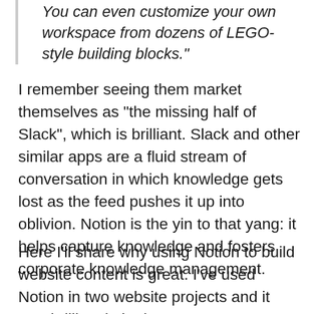You can even customize your own workspace from dozens of LEGO-style building blocks."
I remember seeing them market themselves as “the missing half of Slack”, which is brilliant. Slack and other similar apps are a fluid stream of conversation in which knowledge gets lost as the feed pushes it up into oblivion. Notion is the yin to that yang: it helps capture knowledge and fosters corporate knowledge management.
Here I’ll share why using Notion to build website content is great. I’ve used Notion in two website projects and it was brilliant in both